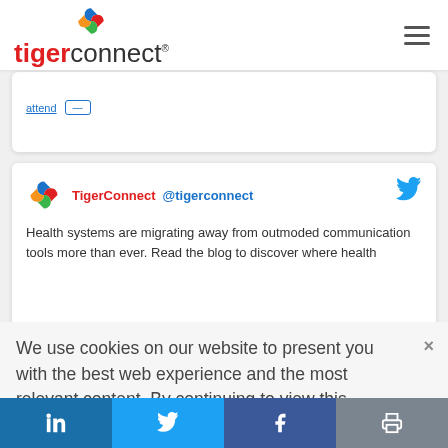tigerconnect navigation header with logo and hamburger menu
[Figure (screenshot): Partial card showing 'attend' link and button, cropped at top]
[Figure (screenshot): TigerConnect Twitter embed card showing: TigerConnect @tigerconnect — Health systems are migrating away from outmoded communication tools more than ever. Read the blog to discover where health]
We use cookies on our website to present you with the best web experience and the most relevant content. By continuing to view this website, you are giving us your consent to do this. To learn more, please review our
in | Twitter bird | f | print icon — social sharing bar